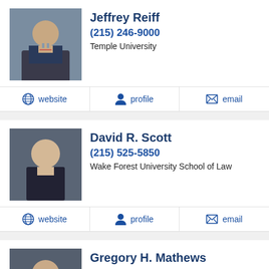[Figure (photo): Headshot of Jeffrey Reiff in formal attire]
Jeffrey Reiff
(215) 246-9000
Temple University
website   profile   email
[Figure (photo): Headshot of David R. Scott in formal attire]
David R. Scott
(215) 525-5850
Wake Forest University School of Law
website   profile   email
[Figure (photo): Headshot of Gregory H. Mathews in formal attire]
Gregory H. Mathews
(215) 525-5850
Antioch College